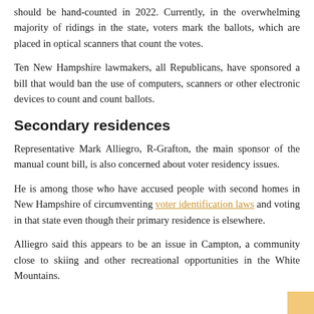should be hand-counted in 2022. Currently, in the overwhelming majority of ridings in the state, voters mark the ballots, which are placed in optical scanners that count the votes.
Ten New Hampshire lawmakers, all Republicans, have sponsored a bill that would ban the use of computers, scanners or other electronic devices to count and count ballots.
Secondary residences
Representative Mark Alliegro, R-Grafton, the main sponsor of the manual count bill, is also concerned about voter residency issues.
He is among those who have accused people with second homes in New Hampshire of circumventing voter identification laws and voting in that state even though their primary residence is elsewhere.
Alliegro said this appears to be an issue in Campton, a community close to skiing and other recreational opportunities in the White Mountains.